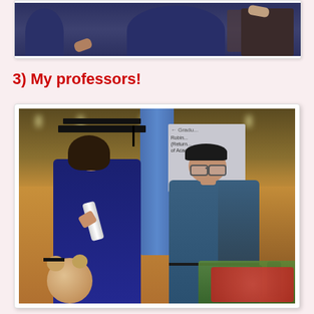[Figure (photo): Top portion of a graduation photo showing people in academic gowns, partially cropped at top]
3) My professors!
[Figure (photo): Graduation photo: a young woman in academic cap and gown holding a diploma roll and a teddy bear with a graduation cap, giving thumbs up, posing with a male professor in a blue shirt, inside a convention or ceremony hall with a blue column and directional signage in the background]